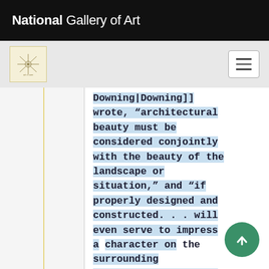National Gallery of Art
[Figure (logo): Small stamp/seal logo with compass-like design on cream background]
Downing|Downing]] wrote, “architectural beauty must be considered conjointly with the beauty of the landscape or situation,” and “if properly designed and constructed. . . will even serve to impress a character on the surrounding landscape.”<ref>A. J. Downing, ''A Treatise on the Theory and Practice of Landscape Gardening'' (New York: